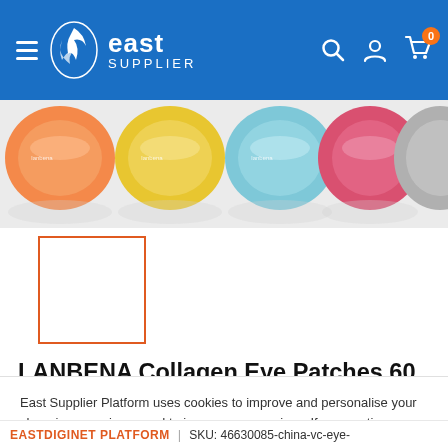East Supplier — header navigation with hamburger menu, logo, search, account, and cart icons. Cart shows badge: 0
[Figure (photo): Strip of colorful round cosmetic jar lids (orange, yellow, blue/teal, pink/red, silver) on light gray background]
[Figure (photo): Product thumbnail image box — white rectangle with orange border (selected thumbnail state)]
LANBENA Collagen Eye Patches 60 Pcs Eye Bags Removal Wrinkles Circles Retinol Vc Hyaluronic Acid Eyes Sleep Mask Face Skin
East Supplier Platform uses cookies to improve and personalise your shopping experience and to improve our services. If you continue browsing on our website, we will assume that you agree to the use of such cookies.
Accept
EASTDIGINET PLATFORM  |  SKU: 46630085-china-vc-eye-